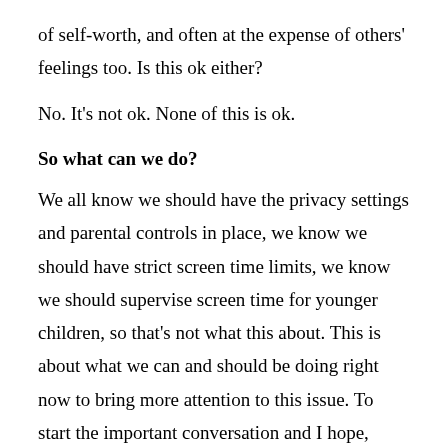of self-worth, and often at the expense of others' feelings too. Is this ok either?
No. It's not ok. None of this is ok.
So what can we do?
We all know we should have the privacy settings and parental controls in place, we know we should have strict screen time limits, we know we should supervise screen time for younger children, so that's not what this about. This is about what we can and should be doing right now to bring more attention to this issue. To start the important conversation and I hope, change our screen habits for the well-being of future generations. Here's